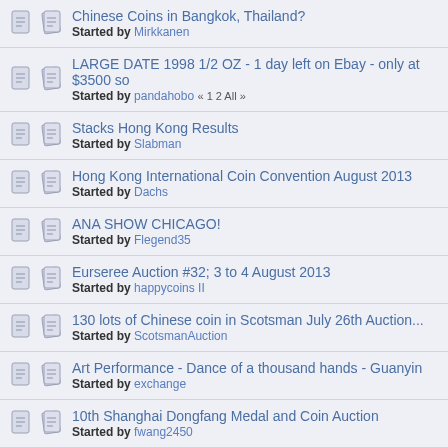Chinese Coins in Bangkok, Thailand? Started by Mirkkanen
LARGE DATE 1998 1/2 OZ - 1 day left on Ebay - only at $3500 so Started by pandahobo « 1 2 All »
Stacks Hong Kong Results Started by Slabman
Hong Kong International Coin Convention August 2013 Started by Dachs
ANA SHOW CHICAGO! Started by Flegend35
Eurseree Auction #32; 3 to 4 August 2013 Started by happycoins II
130 lots of Chinese coin in Scotsman July 26th Auction... Started by ScotsmanAuction
Art Performance - Dance of a thousand hands - Guanyin Started by exchange
10th Shanghai Dongfang Medal and Coin Auction Started by fwang2450